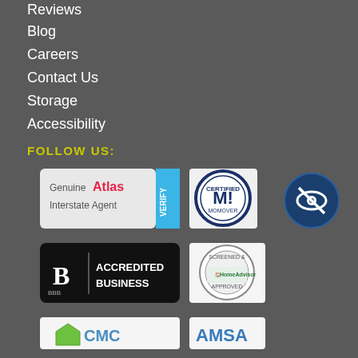Reviews
Blog
Careers
Contact Us
Storage
Accessibility
FOLLOW US:
[Figure (logo): Genuine Atlas Interstate Agent badge with blue VERIFY strip]
[Figure (logo): Certified M! Mover circular badge]
[Figure (logo): BBB Accredited Business badge]
[Figure (logo): HomeAdvisor Screened and Approved circular badge]
[Figure (logo): Eye icon circle - dark blue with white eye]
[Figure (logo): CMC or similar logo partially visible]
[Figure (logo): AMSA logo partially visible]